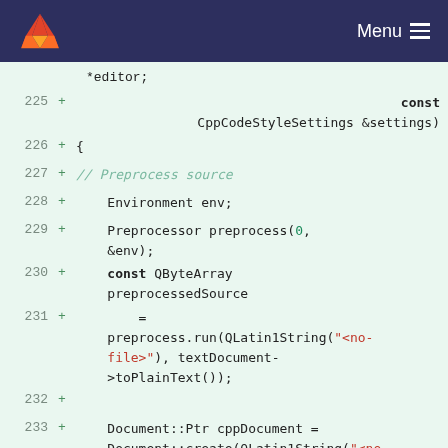GitLab Menu
[Figure (screenshot): GitLab code diff viewer showing lines 225-235 of C++ source code with added lines highlighted in green. Code shows a function with CppCodeStyleSettings parameter, preprocessor setup, and document creation.]